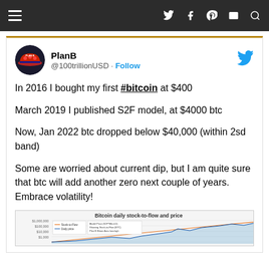Navigation bar with hamburger menu and social icons
[Figure (screenshot): Twitter/X profile avatar — PlanB wearing a MAGA-style cap]
PlanB @100trillionUSD · Follow
In 2016 I bought my first #bitcoin at $400

March 2019 I published S2F model, at $4000 btc

Now, Jan 2022 btc dropped below $40,000 (within 2sd band)

Some are worried about current dip, but I am quite sure that btc will add another zero next couple of years. Embrace volatility!
[Figure (line-chart): Partial view of Bitcoin daily stock-to-flow and price chart, cut off at bottom of page]